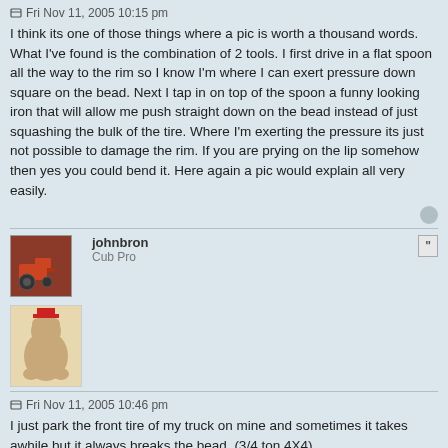Fri Nov 11, 2005 10:15 pm
I think its one of those things where a pic is worth a thousand words. What I've found is the combination of 2 tools. I first drive in a flat spoon all the way to the rim so I know I'm where I can exert pressure down square on the bead. Next I tap in on top of the spoon a funny looking iron that will allow me push straight down on the bead instead of just squashing the bulk of the tire. Where I'm exerting the pressure its just not possible to damage the rim. If you are prying on the lip somehow then yes you could bend it. Here again a pic would explain all very easily.
johnbron
Cub Pro
Fri Nov 11, 2005 10:46 pm
I just park the front tire of my truck on mine and sometimes it takes awhile but it always breaks the bead. (3/4 ton 4X4)
Then came Bronson